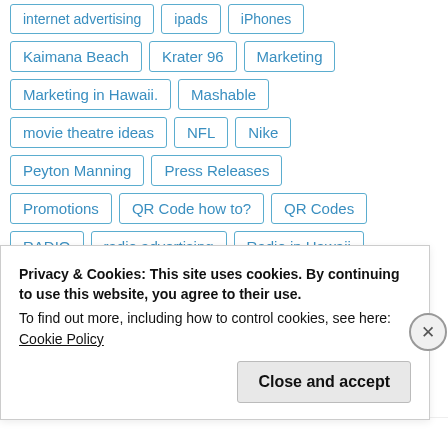internet advertising
ipads
iphones
Kaimana Beach
Krater 96
Marketing
Marketing in Hawaii.
Mashable
movie theatre ideas
NFL
Nike
Peyton Manning
Press Releases
Promotions
QR Code how to?
QR Codes
RADIO
radio advertising
Radio in Hawaii
Retail Outlet tips
Scott Mackenzie
Privacy & Cookies: This site uses cookies. By continuing to use this website, you agree to their use.
To find out more, including how to control cookies, see here: Cookie Policy
Close and accept